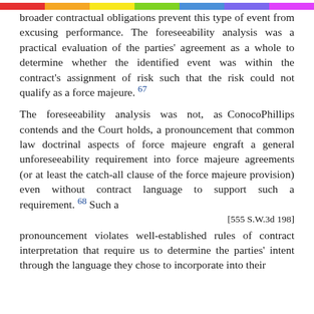broader contractual obligations prevent this type of event from excusing performance. The foreseeability analysis was a practical evaluation of the parties' agreement as a whole to determine whether the identified event was within the contract's assignment of risk such that the risk could not qualify as a force majeure. 67
The foreseeability analysis was not, as ConocoPhillips contends and the Court holds, a pronouncement that common law doctrinal aspects of force majeure engraft a general unforeseeability requirement into force majeure agreements (or at least the catch-all clause of the force majeure provision) even without contract language to support such a requirement. 68 Such a
[555 S.W.3d 198]
pronouncement violates well-established rules of contract interpretation that require us to determine the parties' intent through the language they chose to incorporate into their